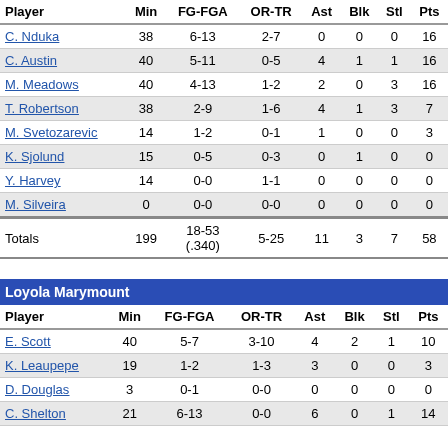| Player | Min | FG-FGA | OR-TR | Ast | Blk | Stl | Pts |
| --- | --- | --- | --- | --- | --- | --- | --- |
| C. Nduka | 38 | 6-13 | 2-7 | 0 | 0 | 0 | 16 |
| C. Austin | 40 | 5-11 | 0-5 | 4 | 1 | 1 | 16 |
| M. Meadows | 40 | 4-13 | 1-2 | 2 | 0 | 3 | 16 |
| T. Robertson | 38 | 2-9 | 1-6 | 4 | 1 | 3 | 7 |
| M. Svetozarevic | 14 | 1-2 | 0-1 | 1 | 0 | 0 | 3 |
| K. Sjolund | 15 | 0-5 | 0-3 | 0 | 1 | 0 | 0 |
| Y. Harvey | 14 | 0-0 | 1-1 | 0 | 0 | 0 | 0 |
| M. Silveira | 0 | 0-0 | 0-0 | 0 | 0 | 0 | 0 |
| Totals | 199 | 18-53 (.340) | 5-25 | 11 | 3 | 7 | 58 |
Loyola Marymount
| Player | Min | FG-FGA | OR-TR | Ast | Blk | Stl | Pts |
| --- | --- | --- | --- | --- | --- | --- | --- |
| E. Scott | 40 | 5-7 | 3-10 | 4 | 2 | 1 | 10 |
| K. Leaupepe | 19 | 1-2 | 1-3 | 3 | 0 | 0 | 3 |
| D. Douglas | 3 | 0-1 | 0-0 | 0 | 0 | 0 | 0 |
| C. Shelton | 21 | 6-13 | 0-0 | 6 | 0 | 1 | 14 |